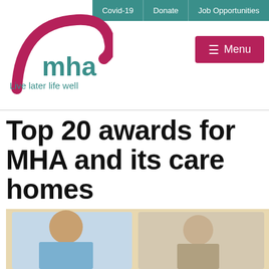Covid-19 | Donate | Job Opportunities
[Figure (logo): MHA (Methodist Homes) logo with pink arc and teal text, tagline: Live later life well]
≡ Menu
Top 20 awards for MHA and its care homes
[Figure (photo): A male healthcare worker in blue scrubs wearing a stethoscope talks with an elderly man at a table]